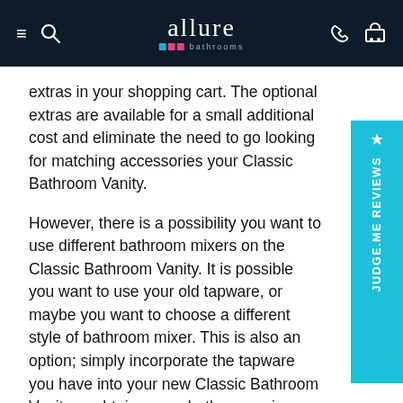allure bathrooms — navigation bar with hamburger menu, search, phone, and cart icons
extras in your shopping cart. The optional extras are available for a small additional cost and eliminate the need to go looking for matching accessories your Classic Bathroom Vanity.
However, there is a possibility you want to use different bathroom mixers on the Classic Bathroom Vanity. It is possible you want to use your old tapware, or maybe you want to choose a different style of bathroom mixer. This is also an option; simply incorporate the tapware you have into your new Classic Bathroom Vanity or obtain a new bathroom mixer from out catalogue.
[Figure (other): Judge.me Reviews vertical sidebar tab in cyan/teal color with star icon and rotated text reading JUDGE.ME REVIEWS]